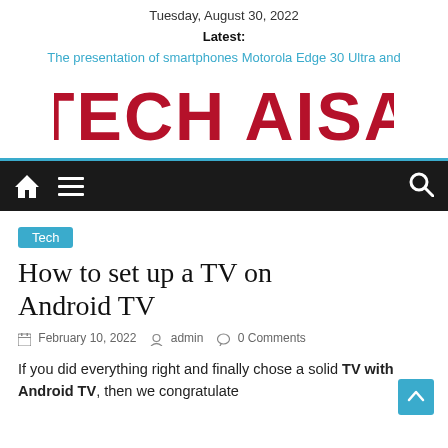Tuesday, August 30, 2022
Latest:
The presentation of smartphones Motorola Edge 30 Ultra and
[Figure (logo): TECH AISA logo in bold red capital letters]
[Figure (screenshot): Dark navigation bar with home icon, hamburger menu icon on left and search icon on right]
Tech
How to set up a TV on Android TV
February 10, 2022   admin   0 Comments
If you did everything right and finally chose a solid TV with Android TV, then we congratulate